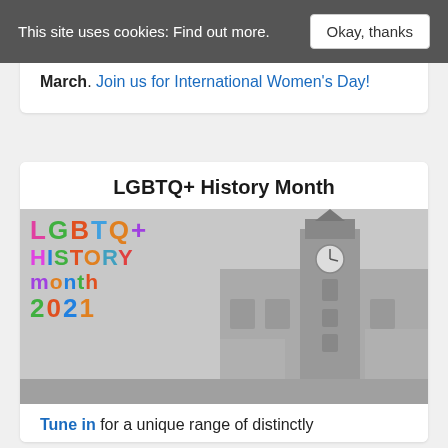This site uses cookies: Find out more. | Okay, thanks
March. Join us for International Women's Day!
LGBTQ+ History Month
[Figure (illustration): LGBTQ+ History Month 2021 promotional image with colourful text logo and a black-and-white photo of Bradford city hall clock tower in the background]
Tune in for a unique range of distinctly